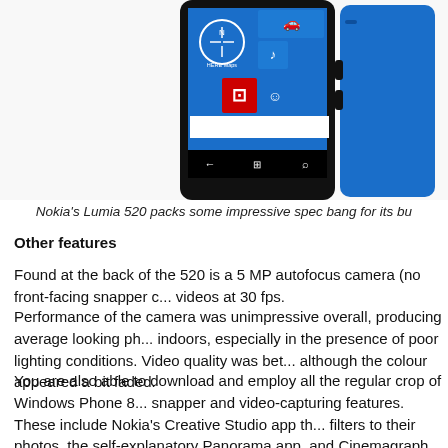[Figure (photo): Nokia Lumia 520 smartphone shown from front and back/side views. Front shows Windows Phone 8 start screen with blue tiles including HERE Maps, a compass tile, a car tile, a music note tile, a red Office tile, and a smiley face tile. The device has a black bezel with navigation buttons at the bottom. The back and side of the phone show a blue polycarbonate shell.]
Nokia's Lumia 520 packs some impressive spec bang for its bu
Other features
Found at the back of the 520 is a 5 MP autofocus camera (no front-facing snapper c... videos at 30 fps.
Performance of the camera was unimpressive overall, producing average looking ph... indoors, especially in the presence of poor lighting conditions. Video quality was bet... although the colour appeared a bit faded.
You are also able to download and employ all the regular crop of Windows Phone 8... snapper and video-capturing features. These include Nokia's Creative Studio app th... filters to their photos, the self-explanatory Panorama app, and Cinemagraph, which... create animated GIF files.